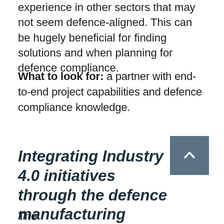experience in other sectors that may not seem defence-aligned. This can be hugely beneficial for finding solutions and when planning for defence compliance.
What to look for: a partner with end-to-end project capabilities and defence compliance knowledge.
Integrating Industry 4.0 initiatives through the defence manufacturing supply chain
The bottom text beginning of a new paragraph.